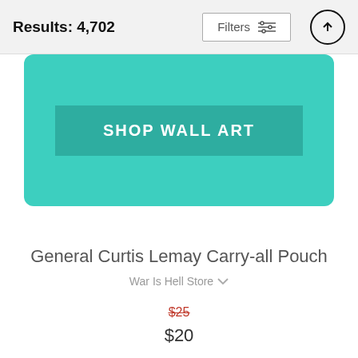Results: 4,702
[Figure (screenshot): Teal/turquoise promotional banner with a 'SHOP WALL ART' button in a darker teal rectangle]
General Curtis Lemay Carry-all Pouch
War Is Hell Store
$25 (strikethrough) $20